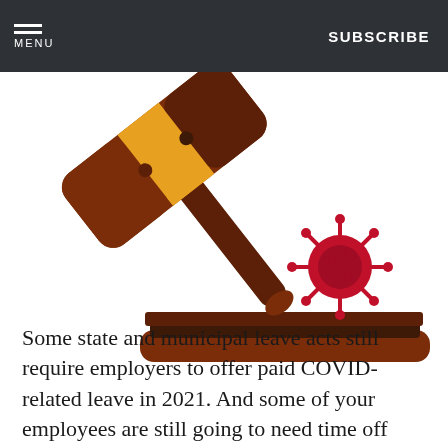MENU | SUBSCRIBE
[Figure (illustration): A brown wooden judge's gavel with a gold/yellow band on the head, angled diagonally, resting above a wooden sound block base with a dark top pad. A red coronavirus/COVID-19 particle icon appears to the right side of the gavel.]
Some state and municipal leave acts still require employers to offer paid COVID-related leave in 2021. And some of your employees are still going to need time off